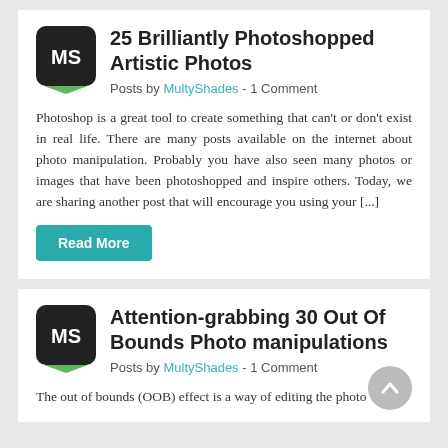[Figure (logo): MS logo — dark rounded square with 'MS' text and green bottom tab]
25 Brilliantly Photoshopped Artistic Photos
Posts by MultyShades  -  1 Comment
Photoshop is a great tool to create something that can't or don't exist in real life. There are many posts available on the internet about photo manipulation. Probably you have also seen many photos or images that have been photoshopped and inspire others. Today, we are sharing another post that will encourage you using your [...]
Read More
[Figure (logo): MS logo — dark rounded square with 'MS' text and green bottom tab]
Attention-grabbing 30 Out Of Bounds Photo manipulations
Posts by MultyShades  -  1 Comment
The out of bounds (OOB) effect is a way of editing the photo